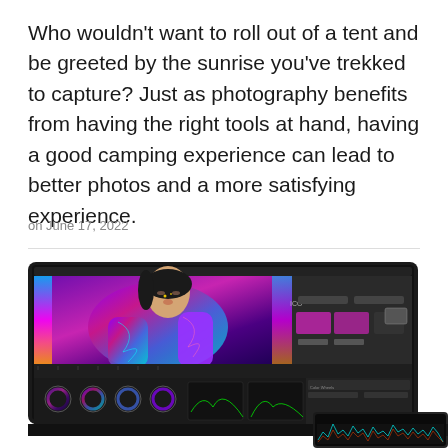Who wouldn't want to roll out of a tent and be greeted by the sunrise you've trekked to capture? Just as photography benefits from having the right tools at hand, having a good camping experience can lead to better photos and a more satisfying experience.
on June 17, 2022
[Figure (screenshot): Screenshot of a video editing software (DaVinci Resolve) on a laptop screen, showing a woman in a shiny purple/iridescent jacket with colorful lighting, with color grading tools and timeline visible at the bottom.]